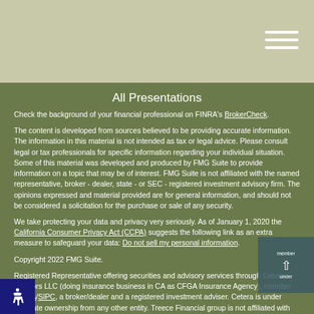All Presentations
Check the background of your financial professional on FINRA's BrokerCheck.
The content is developed from sources believed to be providing accurate information. The information in this material is not intended as tax or legal advice. Please consult legal or tax professionals for specific information regarding your individual situation. Some of this material was developed and produced by FMG Suite to provide information on a topic that may be of interest. FMG Suite is not affiliated with the named representative, broker - dealer, state - or SEC - registered investment advisory firm. The opinions expressed and material provided are for general information, and should not be considered a solicitation for the purchase or sale of any security.
We take protecting your data and privacy very seriously. As of January 1, 2020 the California Consumer Privacy Act (CCPA) suggests the following link as an extra measure to safeguard your data: Do not sell my personal information.
Copyright 2022 FMG Suite.
Registered Representative offering securities and advisory services through Cetera Advisors LLC (doing insurance business in CA as CFGA Insurance Agency), member FINRA/SIPC, a broker/dealer and a registered investment adviser. Cetera is under separate ownership from any other entity. Treece Financial group is not affiliated with Cetera Advisors LLC.